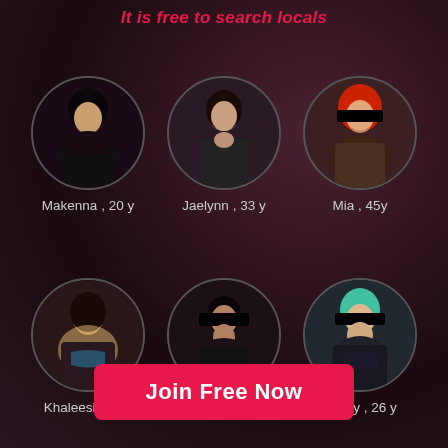It is free to search locals
[Figure (infographic): Dating app advertisement showing 6 circular profile photos of women with names and ages: Makenna 20y, Jaelynn 33y, Mia 45y (top row), Khaleesi 31y, Noa 28y, Mercy 26y (bottom row)]
Join Free Now